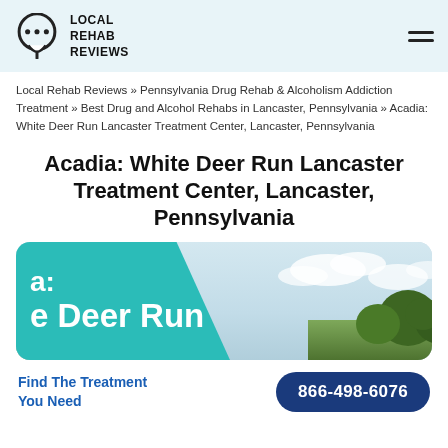LOCAL REHAB REVIEWS
Local Rehab Reviews » Pennsylvania Drug Rehab & Alcoholism Addiction Treatment » Best Drug and Alcohol Rehabs in Lancaster, Pennsylvania » Acadia: White Deer Run Lancaster Treatment Center, Lancaster, Pennsylvania
Acadia: White Deer Run Lancaster Treatment Center, Lancaster, Pennsylvania
[Figure (photo): Hero banner image showing a teal/turquoise left panel with partial text 'a:' and 'e Deer Run' overlaid, transitioning to a landscape photo of sky with clouds and trees on the right side.]
Find The Treatment You Need
866-498-6076